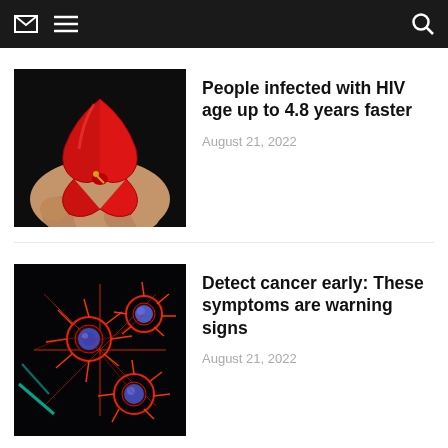[navigation bar with envelope, menu, and search icons]
[Figure (photo): Close-up photo of hands holding a red HIV/AIDS awareness ribbon with a gold safety pin, on a dark background]
People infected with HIV age up to 4.8 years faster
August 21, 2022
[Figure (photo): Microscope fluorescence image of cancer cells with red cytoskeleton filaments and blue nuclei on a dark background]
Detect cancer early: These symptoms are warning signs
August 21, 2022